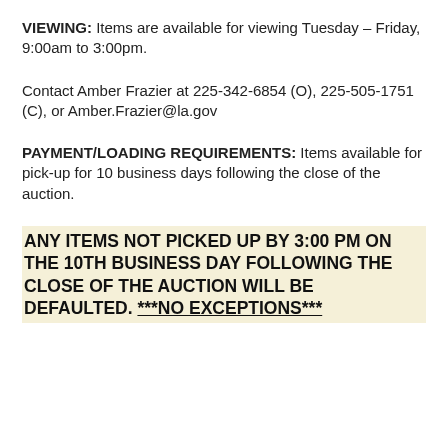VIEWING: Items are available for viewing Tuesday – Friday, 9:00am to 3:00pm.
Contact Amber Frazier at 225-342-6854 (O), 225-505-1751 (C), or Amber.Frazier@la.gov
PAYMENT/LOADING REQUIREMENTS: Items available for pick-up for 10 business days following the close of the auction.
ANY ITEMS NOT PICKED UP BY 3:00 PM ON THE 10TH BUSINESS DAY FOLLOWING THE CLOSE OF THE AUCTION WILL BE DEFAULTED. ***NO EXCEPTIONS***